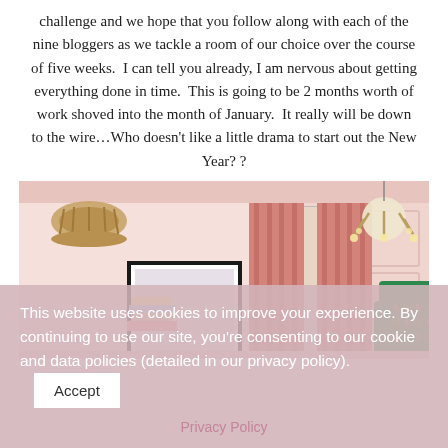challenge and we hope that you follow along with each of the nine bloggers as we tackle a room of our choice over the course of five weeks.  I can tell you already, I am nervous about getting everything done in time.  This is going to be 2 months worth of work shoved into the month of January.  It really will be down to the wire…Who doesn't like a little drama to start out the New Year? ?
[Figure (illustration): Interior room illustration showing a pink-walled room with salmon/coral curtains, a green patterned sofa with white deer motif, a wicker pendant lamp on the left, a gold chandelier on the right, a framed artwork and colorful books/items on the left side, and paneled white wainscoting on the walls.]
This website uses cookies to improve your experience. By continuing to use our site, you're consenting to our cookie and data policies (detailed in our privacy policy).
Privacy Policy